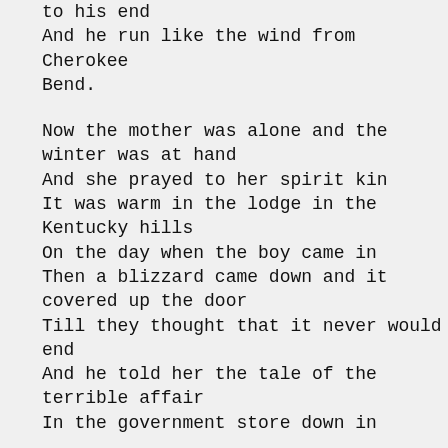to his end
And he run like the wind from Cherokee Bend.

Now the mother was alone and the winter was at hand
And she prayed to her spirit kin
It was warm in the lodge in the Kentucky hills
On the day when the boy came in
Then a blizzard came down and it covered up the door
Till they thought that it never would end
And he told her the tale of the terrible affair
In the government store down in